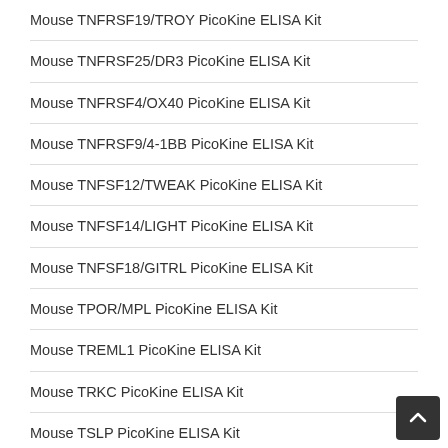Mouse TNFRSF19/TROY PicoKine ELISA Kit
Mouse TNFRSF25/DR3 PicoKine ELISA Kit
Mouse TNFRSF4/OX40 PicoKine ELISA Kit
Mouse TNFRSF9/4-1BB PicoKine ELISA Kit
Mouse TNFSF12/TWEAK PicoKine ELISA Kit
Mouse TNFSF14/LIGHT PicoKine ELISA Kit
Mouse TNFSF18/GITRL PicoKine ELISA Kit
Mouse TPOR/MPL PicoKine ELISA Kit
Mouse TREML1 PicoKine ELISA Kit
Mouse TRKC PicoKine ELISA Kit
Mouse TSLP PicoKine ELISA Kit
Mouse uPAR PicoKine ELISA Kit
Mouse VE-Cadherin/CD144 PicoKine ELISA Kit
Mouse VEGF-B PicoKine ELISA Kit